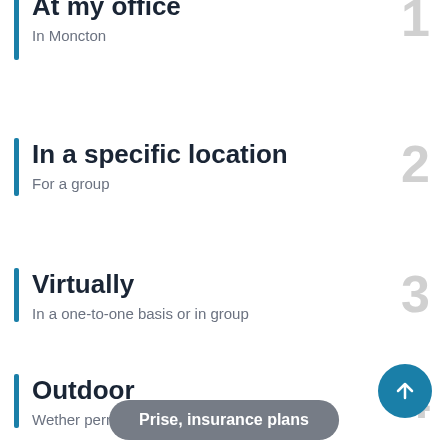At my office — In Moncton — 1
In a specific location — For a group — 2
Virtually — In a one-to-one basis or in group — 3
Outdoor — Wether permitting — 4
Prise, insurance plans